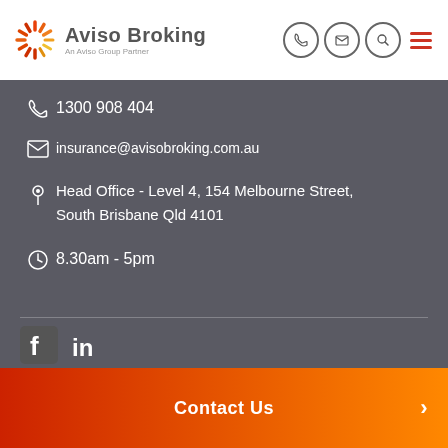[Figure (logo): Aviso Broking logo with sunburst icon and text 'Aviso Broking - An Aviso Group Partner']
[Figure (infographic): Navigation icons: phone, email, search circles and red hamburger menu]
1300 908 404
insurance@avisobroking.com.au
Head Office - Level 4, 154 Melbourne Street, South Brisbane Qld 4101
8.30am - 5pm
[Figure (infographic): Facebook and LinkedIn social media icons]
Contact Us